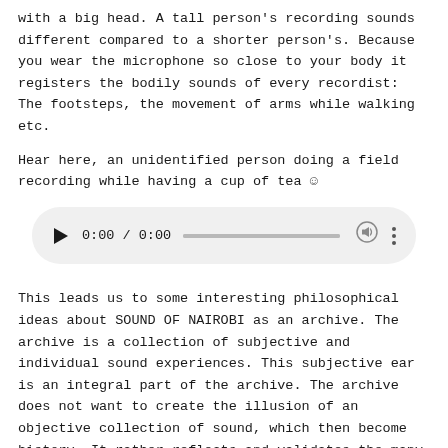with a big head. A tall person's recording sounds different compared to a shorter person's. Because you wear the microphone so close to your body it registers the bodily sounds of every recordist: The footsteps, the movement of arms while walking etc.
Hear here, an unidentified person doing a field recording while having a cup of tea ☺
[Figure (other): An audio player widget with a play button, time display showing 0:00 / 0:00, a progress/seek bar, a volume icon, and a more options (three dots) icon, styled with a light grey rounded rectangle background.]
This leads us to some interesting philosophical ideas about SOUND OF NAIROBI as an archive. The archive is a collection of subjective and individual sound experiences. This subjective ear is an integral part of the archive. The archive does not want to create the illusion of an objective collection of sound, which then become history. It rather reflects and validates the many different people with their uniquenesses